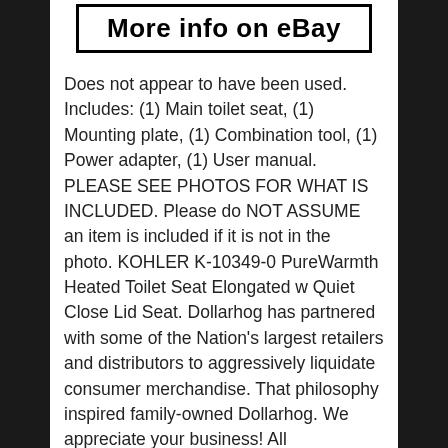[Figure (screenshot): A button with bold text reading 'More info on eBay' with a black border]
Does not appear to have been used. Includes: (1) Main toilet seat, (1) Mounting plate, (1) Combination tool, (1) Power adapter, (1) User manual. PLEASE SEE PHOTOS FOR WHAT IS INCLUDED. Please do NOT ASSUME an item is included if it is not in the photo. KOHLER K-10349-0 PureWarmth Heated Toilet Seat Elongated w Quiet Close Lid Seat. Dollarhog has partnered with some of the Nation's largest retailers and distributors to aggressively liquidate consumer merchandise. That philosophy inspired family-owned Dollarhog. We appreciate your business! All merchandise is tested prior to listing unless it is sealed in the factory package. This will include powering on the unit and checking all the major functions. You will find condition and